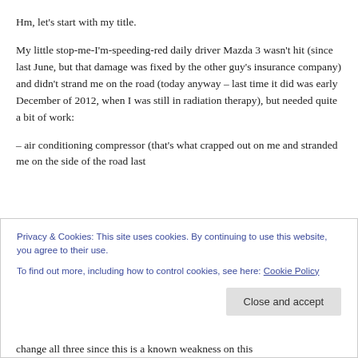Hm, let's start with my title.
My little stop-me-I'm-speeding-red daily driver Mazda 3 wasn't hit (since last June, but that damage was fixed by the other guy's insurance company) and didn't strand me on the road (today anyway – last time it did was early December of 2012, when I was still in radiation therapy), but needed quite a bit of work:
– air conditioning compressor (that's what crapped out on me and stranded me on the side of the road last
Privacy & Cookies: This site uses cookies. By continuing to use this website, you agree to their use. To find out more, including how to control cookies, see here: Cookie Policy
change all three since this is a known weakness on this